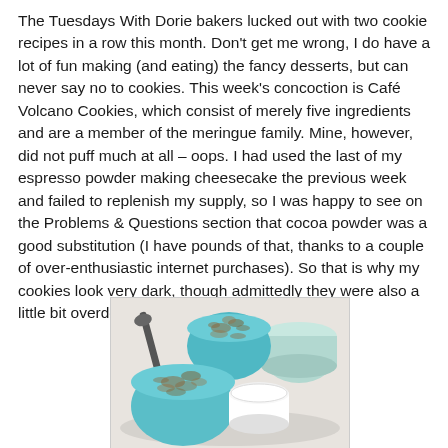The Tuesdays With Dorie bakers lucked out with two cookie recipes in a row this month. Don't get me wrong, I do have a lot of fun making (and eating) the fancy desserts, but can never say no to cookies. This week's concoction is Café Volcano Cookies, which consist of merely five ingredients and are a member of the meringue family. Mine, however, did not puff much at all – oops. I had used the last of my espresso powder making cheesecake the previous week and failed to replenish my supply, so I was happy to see on the Problems & Questions section that cocoa powder was a good substitution (I have pounds of that, thanks to a couple of over-enthusiastic internet purchases). So that is why my cookies look very dark, though admittedly they were also a little bit overdone.
[Figure (photo): Photo of baking ingredients in teal/blue bowls: chopped nuts in two bowls, a white cylindrical container (likely sugar), and a light celadon-colored cup, with a dark spoon visible in the background, arranged on a light surface.]